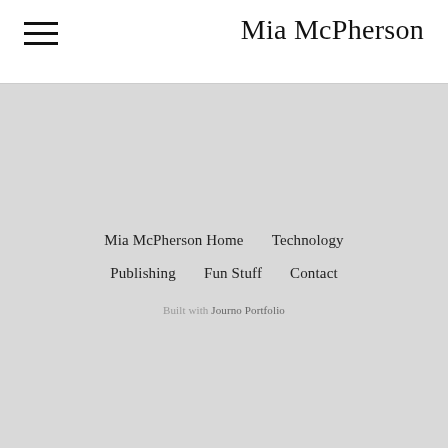Mia McPherson
Mia McPherson Home
Technology
Publishing
Fun Stuff
Contact
Built with Journo Portfolio